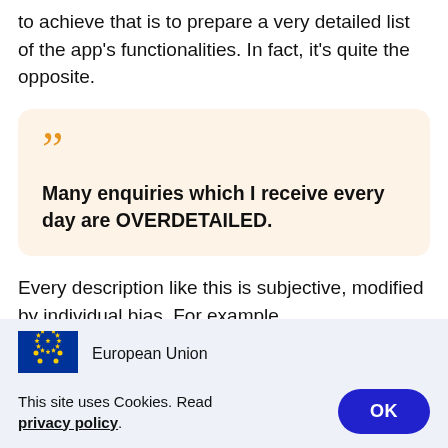to achieve that is to prepare a very detailed list of the app's functionalities. In fact, it's quite the opposite.
““ Many enquiries which I receive every day are OVERDETAILED.
Every description like this is subjective, modified by individual bias. For example,
[Figure (logo): European Union flag logo with text 'European Union']
This site uses Cookies. Read privacy policy.